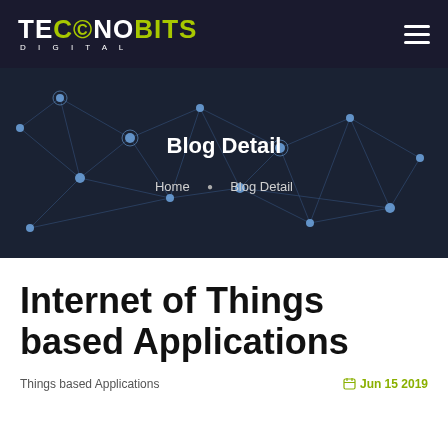TECHNOBITS DIGITAL
Blog Detail
Home · Blog Detail
Internet of Things based Applications
Things based Applications    Jun 15 2019